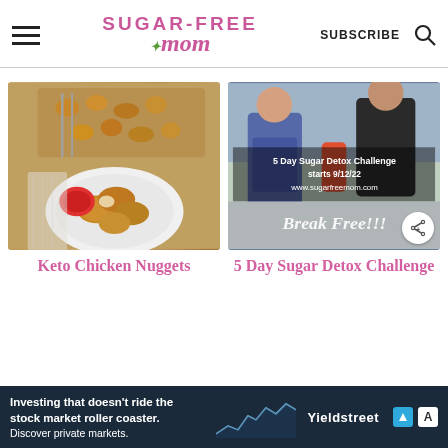Sugar-Free Mom — SUBSCRIBE
[Figure (photo): Keto chicken nuggets on a white plate with ketchup, baking tray in background]
[Figure (photo): 5 Day Sugar Detox Challenge promotional image with before/after people, text: '5 Day Sugar Detox Challenge starts 9/12/22 www.sugarfreemom.com Break Free!!!']
Keto Chicken Nuggets
5 Day Sugar Detox Challenge
Investing that doesn't ride the stock market roller coaster. Discover private markets. Yieldstreet